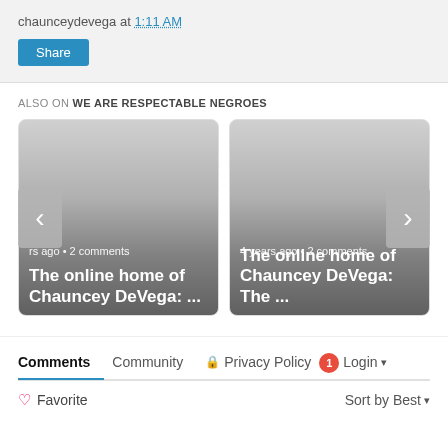chaunceydevega at 1:11 AM
Share
ALSO ON WE ARE RESPECTABLE NEGROES
[Figure (screenshot): Two article preview cards showing 'The online home of Chauncey DeVega: ...' with metadata '4 years ago • 2 comments', navigation arrows on left and right]
Comments  Community  Privacy Policy  1  Login
Favorite  Sort by Best